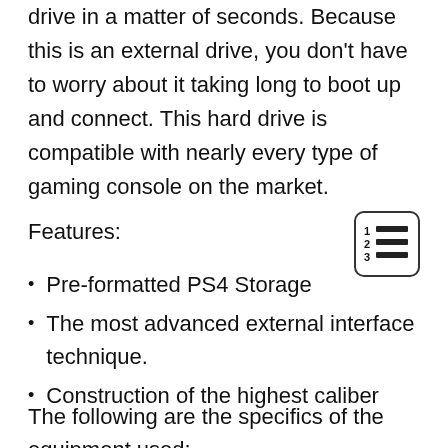drive in a matter of seconds. Because this is an external drive, you don't have to worry about it taking long to boot up and connect. This hard drive is compatible with nearly every type of gaming console on the market.
Features:
[Figure (other): Numbered list icon with lines, inside a rounded rectangle border]
Pre-formatted PS4 Storage
The most advanced external interface technique.
Construction of the highest caliber
The following are the specifics of the equipment used: